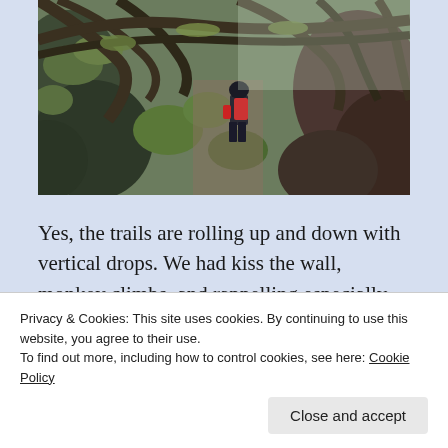[Figure (photo): A hiker with a backpack traversing a steep, moss-covered rocky trail through dense forest with gnarled, moss-draped trees and branches overhead.]
Yes, the trails are rolling up and down with vertical drops. We had kiss the wall, monkey climbs, and rappelling especially while traversing to Mt. Kitanglad. The never-ending assault, the saddle, and the rope
Privacy & Cookies: This site uses cookies. By continuing to use this website, you agree to their use.
To find out more, including how to control cookies, see here: Cookie Policy
Close and accept